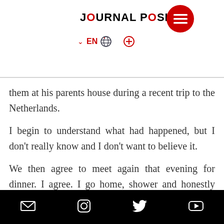JOURNAL POSITIF
them at his parents house during a recent trip to the Netherlands.
I begin to understand what had happened, but I don't really know and I don't want to believe it.
We then agree to meet again that evening for dinner. I agree. I go home, shower and honestly ask myself a million questions about the forgotten PrEP in the Netherlands. I text him and ask him again. He tells me not to worry. To reassure myself, I offer to bring a self-test and give it to him before going out for dinner. He agrees.
[social icons: email, instagram, twitter, youtube]